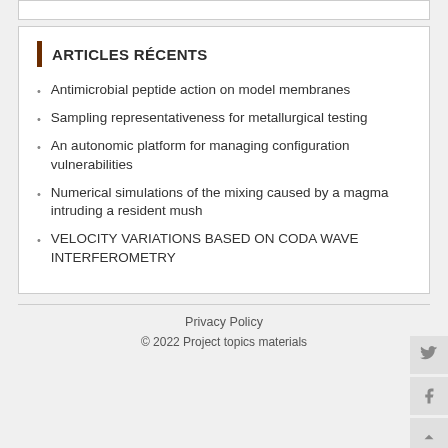ARTICLES RÉCENTS
Antimicrobial peptide action on model membranes
Sampling representativeness for metallurgical testing
An autonomic platform for managing configuration vulnerabilities
Numerical simulations of the mixing caused by a magma intruding a resident mush
VELOCITY VARIATIONS BASED ON CODA WAVE INTERFEROMETRY
Privacy Policy
© 2022 Project topics materials